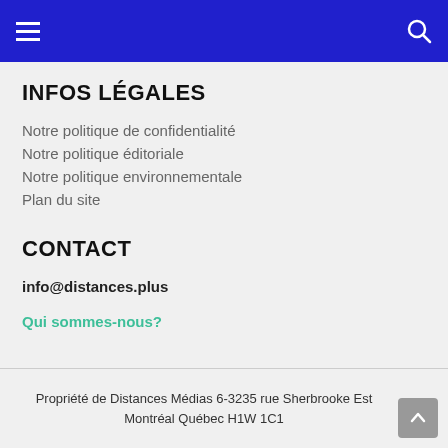Navigation menu and search
INFOS LÉGALES
Notre politique de confidentialité
Notre politique éditoriale
Notre politique environnementale
Plan du site
CONTACT
info@distances.plus
Qui sommes-nous?
Propriété de Distances Médias 6-3235 rue Sherbrooke Est Montréal Québec H1W 1C1